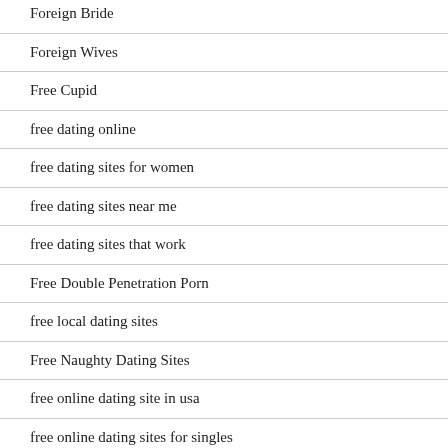Foreign Bride
Foreign Wives
Free Cupid
free dating online
free dating sites for women
free dating sites near me
free dating sites that work
Free Double Penetration Porn
free local dating sites
Free Naughty Dating Sites
free online dating site in usa
free online dating sites for singles